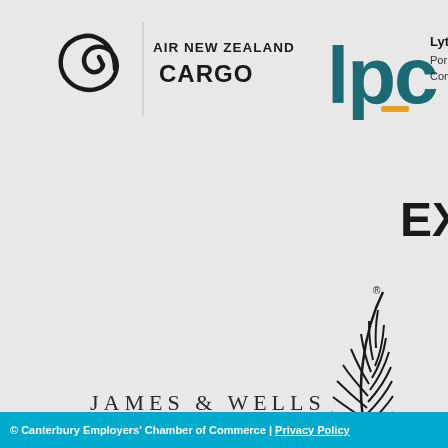[Figure (logo): Air New Zealand Cargo logo - left and right halves of a stylized koru/swirl icon with text 'AIR NEW ZEALAND CARGO']
[Figure (logo): LPC - Lyttelton Port Company logo in teal with orange accent, partially visible at right edge]
[Figure (logo): Partial text 'EX' visible at right edge - likely ExxonMobil or similar company]
[Figure (logo): James & Wells law firm logo in serif spaced lettering]
[Figure (logo): New Zealand Trade & Enterprise - Te Taurapa Tuhono logo with silver fern]
[Figure (logo): BusinessNZ Network logo - dark grey arrow/tag shape with white text]
[Figure (logo): BusinessNZ logo with blue chevron arrow, partially visible second logo at far right]
© Canterbury Employers' Chamber of Commerce | Privacy Policy